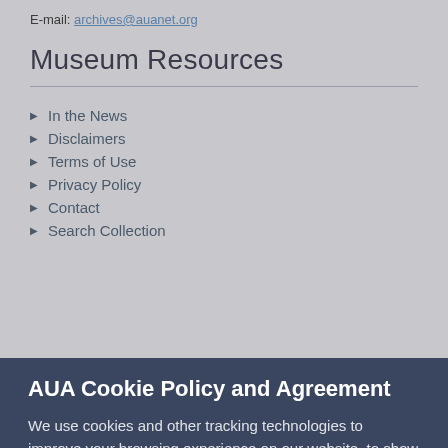E-mail: archives@auanet.org
Museum Resources
In the News
Disclaimers
Terms of Use
Privacy Policy
Contact
Search Collection
AUA Cookie Policy and Agreement
We use cookies and other tracking technologies to improve your browsing experience on our website, to show you personalized content and targeted ads, to analyze our website traffic, and to understand where our